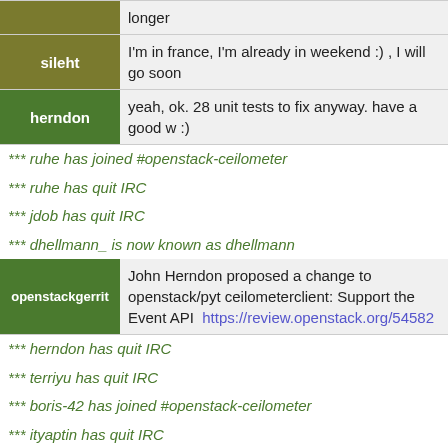longer
sileht: I'm in france, I'm already in weekend :) , I will go soon
herndon: yeah, ok. 28 unit tests to fix anyway. have a good w :)
*** ruhe has joined #openstack-ceilometer
*** ruhe has quit IRC
*** jdob has quit IRC
*** dhellmann_ is now known as dhellmann
openstackgerrit: John Herndon proposed a change to openstack/pyt ceilometerclient: Support the Event API  https://review.openstack.org/54582
*** herndon has quit IRC
*** terriyu has quit IRC
*** boris-42 has joined #openstack-ceilometer
*** ityaptin has quit IRC
*** ityaptin has joined #openstack-ceilometer
*** insanidade has quit IRC
*** herndon has joined #openstack-ceilometer
*** eglynn has joined #openstack-ceilometer
*** ldikov has joined #openstack-ceilometer
*** ldikov has quit IRC
*** ildikov_ has joined #openstack-ceilometer